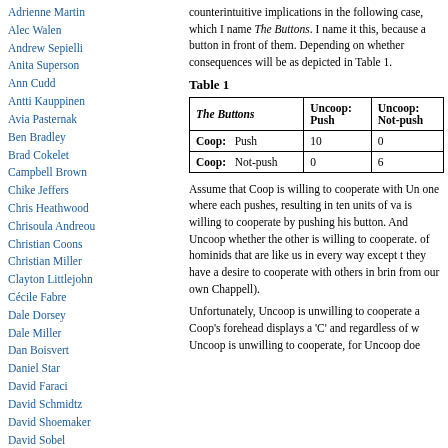Adrienne Martin
Alec Walen
Andrew Sepielli
Anita Superson
Ann Cudd
Antti Kauppinen
Avia Pasternak
Ben Bradley
Brad Cokelet
Campbell Brown
Chike Jeffers
Chris Heathwood
Chrisoula Andreou
Christian Coons
Christian Miller
Clayton Littlejohn
Cécile Fabre
Dale Dorsey
Dale Miller
Dan Boisvert
Daniel Star
David Faraci
David Schmidtz
David Shoemaker
David Sobel
Don Loeb
counterintuitive implications in the following case, which I name The Buttons. I name it this, because a button in front of them. Depending on whether consequences will be as depicted in Table 1.
Table 1
| The Buttons | Uncoop: Push | Uncoop: Not-push |
| --- | --- | --- |
| Coop:  Push | 10 | 0 |
| Coop:  Not-push | 0 | 6 |
Assume that Coop is willing to cooperate with Un one where each pushes, resulting in ten units of va is willing to cooperate by pushing his button. And Uncoop whether the other is willing to cooperate. of hominids that are like us in every way except t they have a desire to cooperate with others in brin from our own Chappell).
Unfortunately, Uncoop is unwilling to cooperate a Coop's forehead displays a 'C' and regardless of w Uncoop is unwilling to cooperate, for Uncoop doe